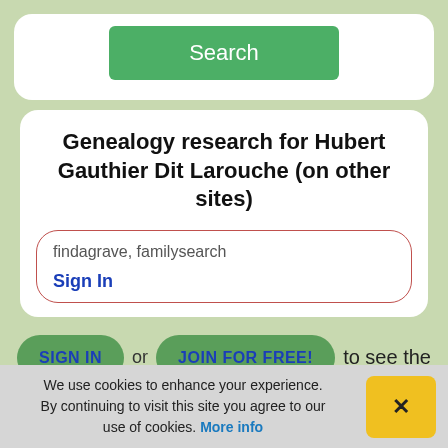[Figure (screenshot): Green Search button at top]
Genealogy research for Hubert Gauthier Dit Larouche (on other sites)
findagrave, familysearch
Sign In
SIGN IN or JOIN FOR FREE! to see the details!
We use cookies to enhance your experience. By continuing to visit this site you agree to our use of cookies. More info